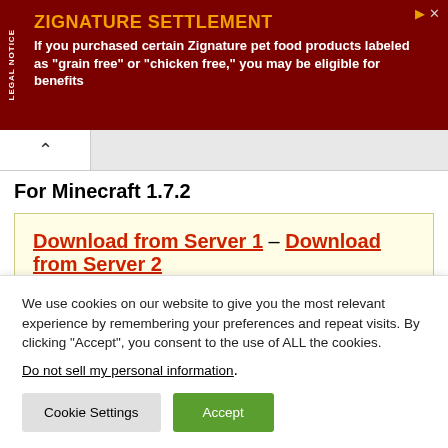[Figure (infographic): Dark red advertisement banner with 'LEGAL NOTICE' tab on left side. Title 'ZIGNATURE SETTLEMENT' in gold/orange bold text. Body text in white: 'If you purchased certain Zignature pet food products labeled as "grain free" or "chicken free," you may be eligible for benefits']
For Minecraft 1.7.2
Download from Server 1 – Download from Server 2
For Minecraft 1.7.10
We use cookies on our website to give you the most relevant experience by remembering your preferences and repeat visits. By clicking “Accept”, you consent to the use of ALL the cookies.
Do not sell my personal information.